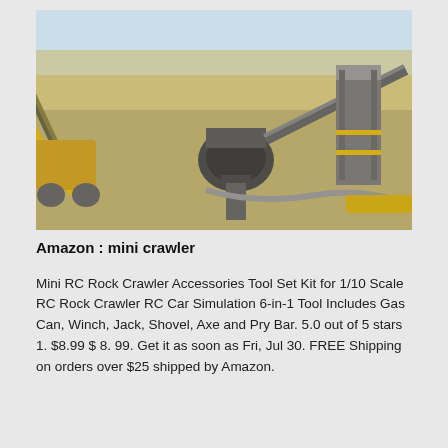[Figure (photo): Aerial view of an industrial mining/quarrying site with heavy machinery, conveyor belts, crushers and processing equipment in a dry desert landscape.]
Amazon : mini crawler
Mini RC Rock Crawler Accessories Tool Set Kit for 1/10 Scale RC Rock Crawler RC Car Simulation 6-in-1 Tool Includes Gas Can, Winch, Jack, Shovel, Axe and Pry Bar. 5.0 out of 5 stars 1. $8.99 $ 8. 99. Get it as soon as Fri, Jul 30. FREE Shipping on orders over $25 shipped by Amazon.